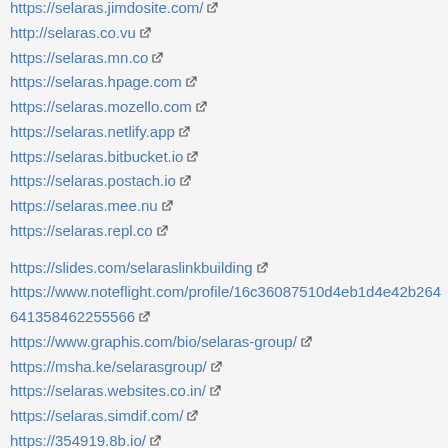https://selaras.jimdosite.com/
http://selaras.co.vu
https://selaras.mn.co
https://selaras.hpage.com
https://selaras.mozello.com
https://selaras.netlify.app
https://selaras.bitbucket.io
https://selaras.postach.io
https://selaras.mee.nu
https://selaras.repl.co
https://slides.com/selaraslinkbuilding
https://www.noteflight.com/profile/16c36087510d4eb1d4e42b264641358462255566
https://www.graphis.com/bio/selaras-group/
https://msha.ke/selarasgroup/
https://selaras.websites.co.in/
https://selaras.simdif.com/
https://354919.8b.io/
https://instabio.cc/30907093cPkpc
https://linkfly.to/30907lfR0rO
https://telegra.ph/selaras-linkbuilding-09-19